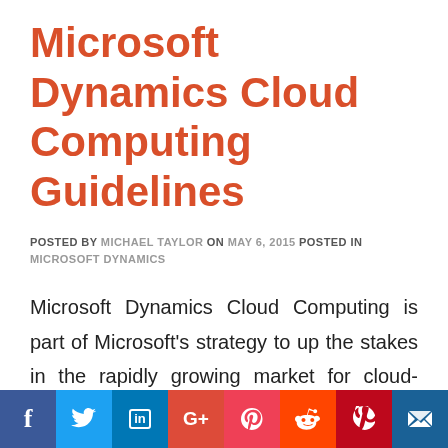Microsoft Dynamics Cloud Computing Guidelines
POSTED BY MICHAEL TAYLOR ON MAY 6, 2015 POSTED IN MICROSOFT DYNAMICS
Microsoft Dynamics Cloud Computing is part of Microsoft's strategy to up the stakes in the rapidly growing market for cloud-based ERP. Microsoft's Dynamics GP 2013 and Dynamics NAV 2013 products can now be accessed for deployment on Azure service. The launch of the
[Figure (infographic): Social media sharing bar with icons for Facebook, Twitter, LinkedIn, Google+, Pocket, Reddit, Pinterest, and email/bookmark]